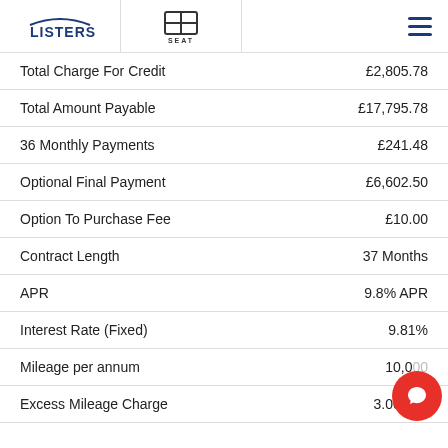LISTERS | SEAT
| Description | Value |
| --- | --- |
| Total Charge For Credit | £2,805.78 |
| Total Amount Payable | £17,795.78 |
| 36 Monthly Payments | £241.48 |
| Optional Final Payment | £6,602.50 |
| Option To Purchase Fee | £10.00 |
| Contract Length | 37 Months |
| APR | 9.8% APR |
| Interest Rate (Fixed) | 9.81% |
| Mileage per annum | 10,000 |
| Excess Mileage Charge | 3.00ppm |